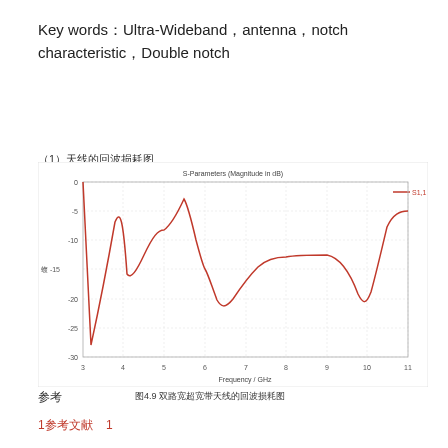Key words：Ultra-Wideband，antenna，notch characteristic，Double notch
（1）天线的回波损耗图
[Figure (continuous-plot): S-Parameters (Magnitude in dB) plot showing S1,1 vs Frequency in GHz from 3 to 11 GHz. The curve shows multiple resonances: deep minimum around 3.2 GHz (~-28dB), peak around 5.5 GHz (~-3dB notch), minimum around 6.3 GHz (~-21dB), broad shallow region around 8 GHz (~-11dB), deep minimum around 10 GHz (~-21dB), and rising to ~-5dB at 11 GHz.]
图4.9 双路宽超宽带天线的回波损耗图
参考
1参考文献    1